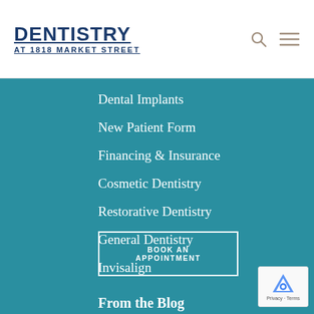DENTISTRY AT 1818 MARKET STREET
Dental Implants
New Patient Form
Financing & Insurance
Cosmetic Dentistry
Restorative Dentistry
General Dentistry
Invisalign
BOOK AN APPOINTMENT
From the Blog